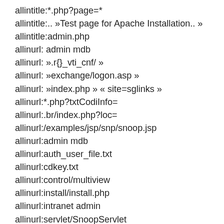allintitle:*.php?page=*
allintitle:.. »Test page for Apache Installation.. »
allintitle:admin.php
allinurl: admin mdb
allinurl: ».r{}_vti_cnf/ »
allinurl: »exchange/logon.asp »
allinurl: »index.php » « site=sglinks »
allinurl:*.php?txtCodiInfo=
allinurl:.br/index.php?loc=
allinurl:/examples/jsp/snp/snoop.jsp
allinurl:admin mdb
allinurl:auth_user_file.txt
allinurl:cdkey.txt
allinurl:control/multiview
allinurl:install/install.php
allinurl:intranet admin
allinurl:servlet/SnoopServlet
allinurl:wps/portal/.login